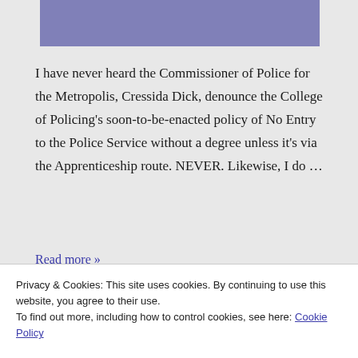[Figure (other): Purple/lavender rectangular banner image at top of blog post]
I have never heard the Commissioner of Police for the Metropolis, Cressida Dick, denounce the College of Policing's soon-to-be-enacted policy of No Entry to the Police Service without a degree unless it's via the Apprenticeship route. NEVER. Likewise, I do …
Read more »
Privacy & Cookies: This site uses cookies. By continuing to use this website, you agree to their use.
To find out more, including how to control cookies, see here: Cookie Policy
BY RETIREDANDANGRY - POSTED ON APRIL 1, 2019